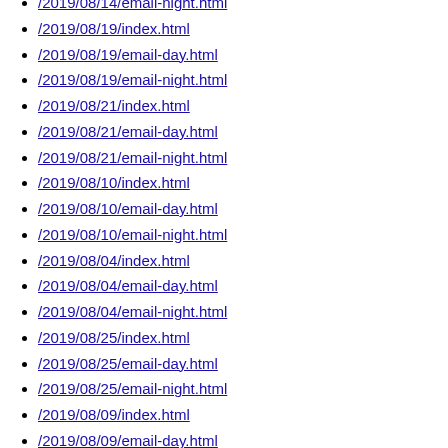/2019/08/14/email-night.html
/2019/08/19/index.html
/2019/08/19/email-day.html
/2019/08/19/email-night.html
/2019/08/21/index.html
/2019/08/21/email-day.html
/2019/08/21/email-night.html
/2019/08/10/index.html
/2019/08/10/email-day.html
/2019/08/10/email-night.html
/2019/08/04/index.html
/2019/08/04/email-day.html
/2019/08/04/email-night.html
/2019/08/25/index.html
/2019/08/25/email-day.html
/2019/08/25/email-night.html
/2019/08/09/index.html
/2019/08/09/email-day.html
/2019/08/09/email-night.html
/2019/08/20/index.html
/2019/08/20/email-day.html
/2019/08/20/email-night.html
/2019/08/28/index.html
/2019/08/28/email-day.html
/2019/08/28/email-night.html